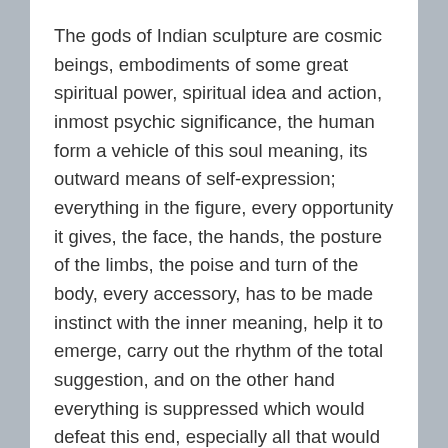The gods of Indian sculpture are cosmic beings, embodiments of some great spiritual power, spiritual idea and action, inmost psychic significance, the human form a vehicle of this soul meaning, its outward means of self-expression; everything in the figure, every opportunity it gives, the face, the hands, the posture of the limbs, the poise and turn of the body, every accessory, has to be made instinct with the inner meaning, help it to emerge, carry out the rhythm of the total suggestion, and on the other hand everything is suppressed which would defeat this end, especially all that would mean an insistence on the merely vital or physical, outward or obvious suggestions of the human figure. Not the ideal physical or emotional beauty, but the utmost spiritual beauty or significance of which the human form is